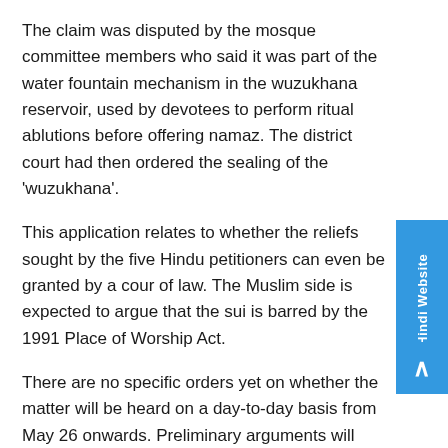The claim was disputed by the mosque committee members who said it was part of the water fountain mechanism in the wuzukhana reservoir, used by devotees to perform ritual ablutions before offering namaz. The district court had then ordered the sealing of the 'wuzukhana'.
This application relates to whether the reliefs sought by the five Hindu petitioners can even be granted by a court of law. The Muslim side is expected to argue that the suit is barred by the 1991 Place of Worship Act.
There are no specific orders yet on whether the matter will be heard on a day-to-day basis from May 26 onwards. Preliminary arguments will begin on May 26.
The district judge Dr A.K. Vishvesha has also asked for objections to the Government's argument of both...